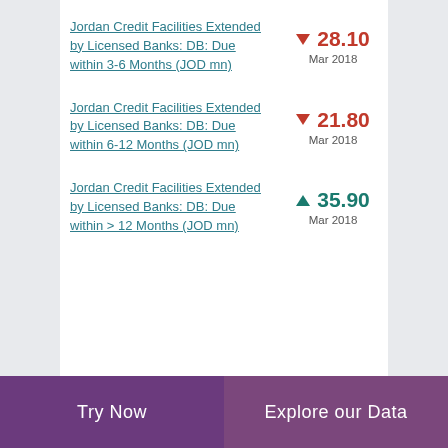Jordan Credit Facilities Extended by Licensed Banks: DB: Due within 3-6 Months (JOD mn)
▼ 28.10 Mar 2018
Jordan Credit Facilities Extended by Licensed Banks: DB: Due within 6-12 Months (JOD mn)
▼ 21.80 Mar 2018
Jordan Credit Facilities Extended by Licensed Banks: DB: Due within > 12 Months (JOD mn)
▲ 35.90 Mar 2018
Try Now   Explore our Data